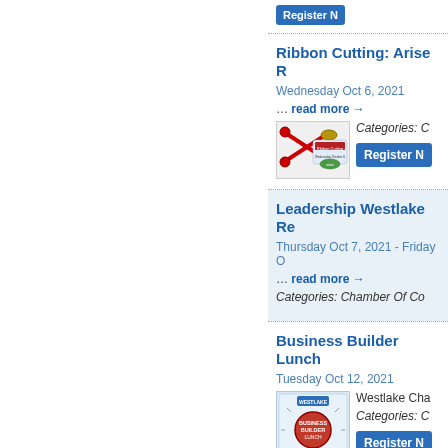Ribbon Cutting: Arise R
Wednesday Oct 6, 2021
... read more →
Categories: C
Register N
Leadership Westlake Re
Thursday Oct 7, 2021 - Friday O
... read more →
Categories: Chamber Of Co
Business Builder Lunch
Tuesday Oct 12, 2021
Westlake Cha
Categories: C
Register N